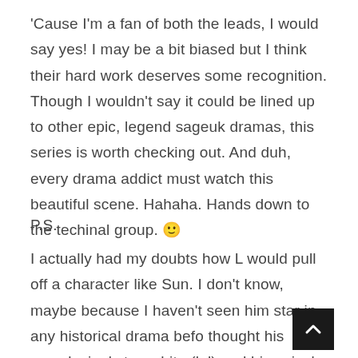'Cause I'm a fan of both the leads, I would say yes! I may be a bit biased but I think their hard work deserves some recognition. Though I wouldn't say it could be lined up to other epic, legend sageuk dramas, this series is worth checking out. And duh, every drama addict must watch this beautiful scene. Hahaha. Hands down to the techinal group. 🙂
P.S.
I actually had my doubts how L would pull off a character like Sun. I don't know, maybe because I haven't seen him star in any historical drama befo thought his complexion's too white (lol) and his voice's